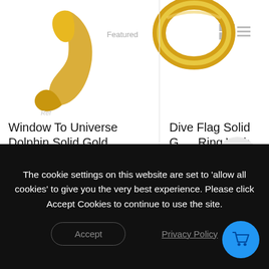[Figure (photo): Gold dolphin sculpture jewelry product image on white background]
Featured
[Figure (photo): Gold band ring product image on white background]
Window To Universe Dolphin Solid Gold...
Dive Flag Solid Gold Ring With Enamel...
$1,050.00
from $550.00
Select Options
Select Options
The cookie settings on this website are set to ‘allow all cookies’ to give you the very best experience. Please click Accept Cookies to continue to use the site.
Accept
Privacy Policy